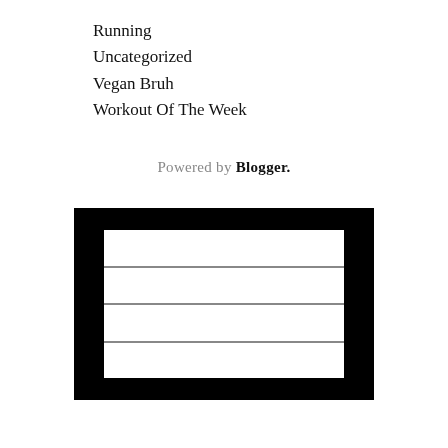Running
Uncategorized
Vegan Bruh
Workout Of The Week
Powered by Blogger.
[Figure (illustration): Blogger logo icon: black rectangle containing a white inner rectangle divided into four horizontal rows by gray lines]